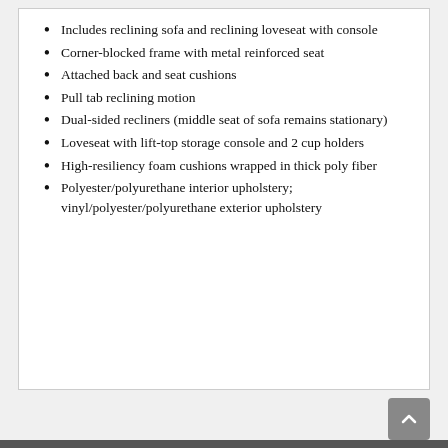Includes reclining sofa and reclining loveseat with console
Corner-blocked frame with metal reinforced seat
Attached back and seat cushions
Pull tab reclining motion
Dual-sided recliners (middle seat of sofa remains stationary)
Loveseat with lift-top storage console and 2 cup holders
High-resiliency foam cushions wrapped in thick poly fiber
Polyester/polyurethane interior upholstery; vinyl/polyester/polyurethane exterior upholstery